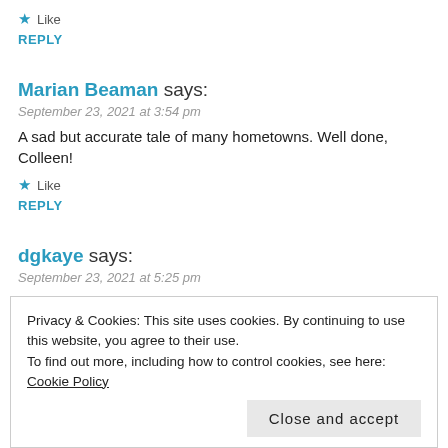★ Like
REPLY
Marian Beaman says:
September 23, 2021 at 3:54 pm
A sad but accurate tale of many hometowns. Well done, Colleen!
★ Like
REPLY
dgkaye says:
September 23, 2021 at 5:25 pm
Privacy & Cookies: This site uses cookies. By continuing to use this website, you agree to their use.
To find out more, including how to control cookies, see here: Cookie Policy
Close and accept